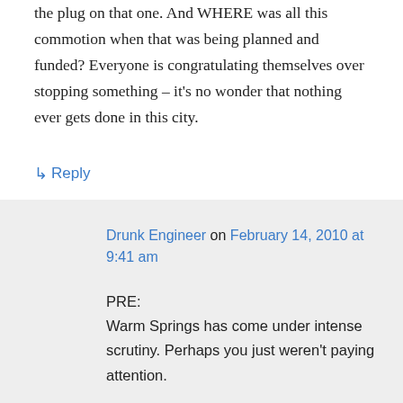the plug on that one. And WHERE was all this commotion when that was being planned and funded? Everyone is congratulating themselves over stopping something – it's no wonder that nothing ever gets done in this city.
↳ Reply
Drunk Engineer on February 14, 2010 at 9:41 am
PRE:
Warm Springs has come under intense scrutiny. Perhaps you just weren't paying attention.

FTA has already given the project